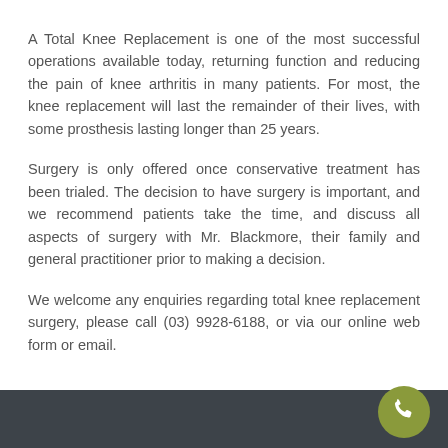A Total Knee Replacement is one of the most successful operations available today, returning function and reducing the pain of knee arthritis in many patients. For most, the knee replacement will last the remainder of their lives, with some prosthesis lasting longer than 25 years.
Surgery is only offered once conservative treatment has been trialed. The decision to have surgery is important, and we recommend patients take the time, and discuss all aspects of surgery with Mr. Blackmore, their family and general practitioner prior to making a decision.
We welcome any enquiries regarding total knee replacement surgery, please call (03) 9928-6188, or via our online web form or email.